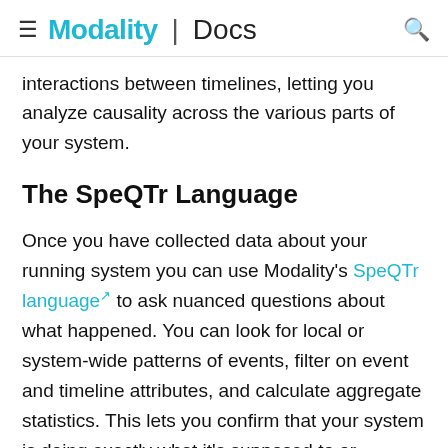Modality | Docs
interactions between timelines, letting you analyze causality across the various parts of your system.
The SpeQTr Language
Once you have collected data about your running system you can use Modality's SpeQTr language to ask nuanced questions about what happened. You can look for local or system-wide patterns of events, filter on event and timeline attributes, and calculate aggregate statistics. This lets you confirm that your system is doing exactly what it's supposed to or pinpoint the place where things went wrong. In addition, Modality has tools to help you understand the general structure of your system and find areas of